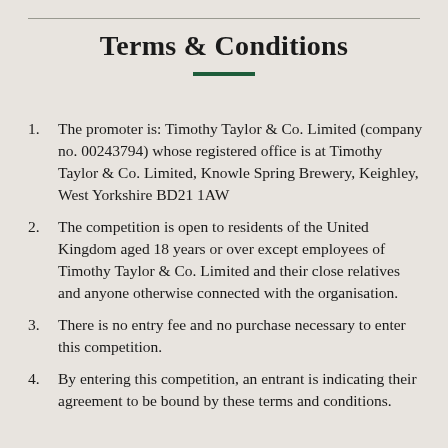Terms & Conditions
The promoter is: Timothy Taylor & Co. Limited (company no. 00243794) whose registered office is at Timothy Taylor & Co. Limited, Knowle Spring Brewery, Keighley, West Yorkshire BD21 1AW
The competition is open to residents of the United Kingdom aged 18 years or over except employees of Timothy Taylor & Co. Limited and their close relatives and anyone otherwise connected with the organisation.
There is no entry fee and no purchase necessary to enter this competition.
By entering this competition, an entrant is indicating their agreement to be bound by these terms and conditions.